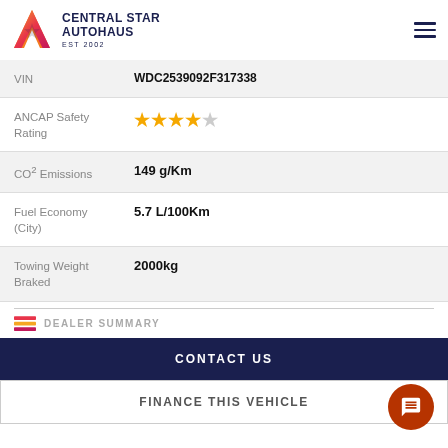CENTRAL STAR AUTOHAUS EST 2002
| Field | Value |
| --- | --- |
| VIN | WDC2539092F317338 |
| ANCAP Safety Rating | ★★★★☆ (4 stars) |
| CO² Emissions | 149 g/Km |
| Fuel Economy (City) | 5.7 L/100Km |
| Towing Weight Braked | 2000kg |
DEALER SUMMARY
CONTACT US
FINANCE THIS VEHICLE